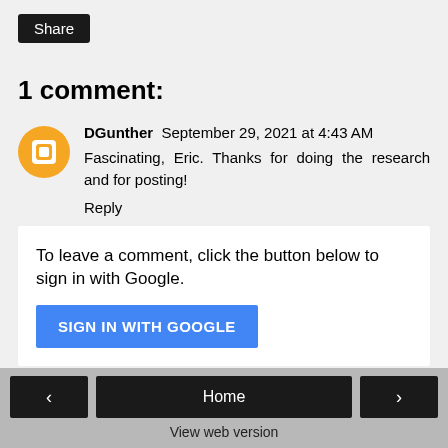Share
1 comment:
DGunther  September 29, 2021 at 4:43 AM
Fascinating, Eric. Thanks for doing the research and for posting!
Reply
To leave a comment, click the button below to sign in with Google.
SIGN IN WITH GOOGLE
< Home > View web version